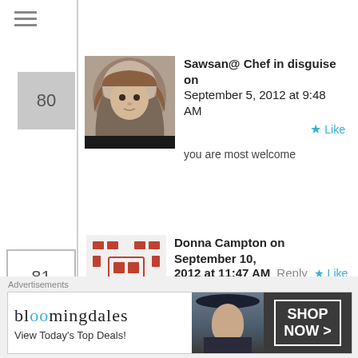≡ (hamburger menu icon)
80
[Figure (photo): Profile photo of Sawsan, woman wearing hijab]
Sawsan@ Chef in disguise on September 5, 2012 at 9:48 AM
★ Like
you are most welcome
81
[Figure (logo): Decorative avatar with red/orange dashed square pattern]
Donna Campton on September 10, 2012 at 11:47 AM   Reply  ★ Like
I love labneh...............I rolled mine in sumac and some in dukhah...............I made the balls and placed them into a container and covered with olive oil..........delicious..........do they have to
Advertisements
[Figure (screenshot): Bloomingdale's advertisement banner with text 'bloomingdales', 'View Today's Top Deals!' and 'SHOP NOW >' button, with model wearing hat]